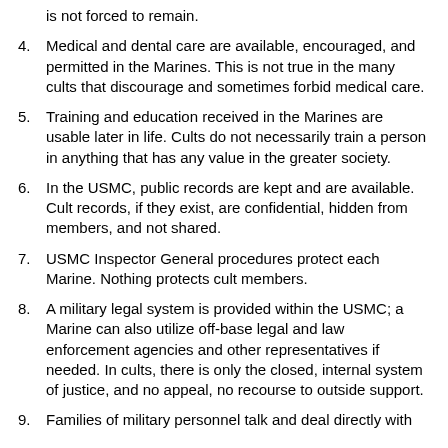is not forced to remain.
4. Medical and dental care are available, encouraged, and permitted in the Marines. This is not true in the many cults that discourage and sometimes forbid medical care.
5. Training and education received in the Marines are usable later in life. Cults do not necessarily train a person in anything that has any value in the greater society.
6. In the USMC, public records are kept and are available. Cult records, if they exist, are confidential, hidden from members, and not shared.
7. USMC Inspector General procedures protect each Marine. Nothing protects cult members.
8. A military legal system is provided within the USMC; a Marine can also utilize off-base legal and law enforcement agencies and other representatives if needed. In cults, there is only the closed, internal system of justice, and no appeal, no recourse to outside support.
9. Families of military personnel talk and deal directly with